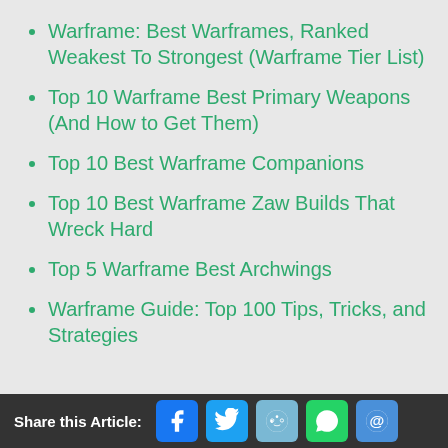Warframe: Best Warframes, Ranked Weakest To Strongest (Warframe Tier List)
Top 10 Warframe Best Primary Weapons (And How to Get Them)
Top 10 Best Warframe Companions
Top 10 Best Warframe Zaw Builds That Wreck Hard
Top 5 Warframe Best Archwings
Warframe Guide: Top 100 Tips, Tricks, and Strategies
Share this Article: [Facebook] [Twitter] [Reddit] [WhatsApp] [Email]